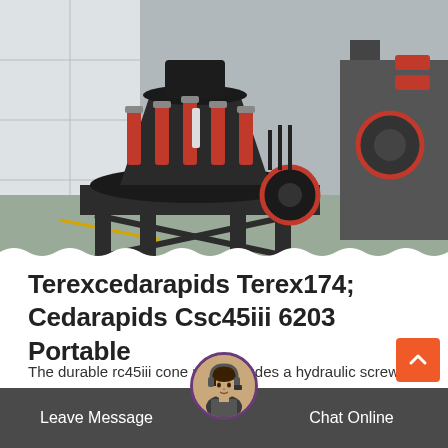[Figure (photo): Industrial cone crusher machine with red hydraulic cylinders and black frame, photographed in a factory/warehouse setting with tiled walls and concrete floor.]
Terexcedarapids Terex174; Cedarapids Csc45iii 6203 Portable
The durable rc45iii cone now includes a hydraulic screw adjustment to make crusher setting changes fast and easy. this closed circuit plant, teamed up wit
Leave Message   Chat Online